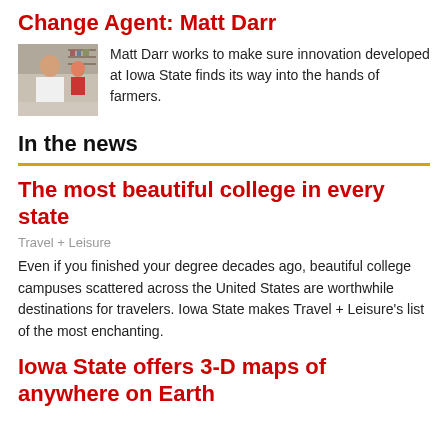Change Agent: Matt Darr
[Figure (photo): Photo of Matt Darr in a room with shelves and other people in background]
Matt Darr works to make sure innovation developed at Iowa State finds its way into the hands of farmers.
In the news
The most beautiful college in every state
Travel + Leisure
Even if you finished your degree decades ago, beautiful college campuses scattered across the United States are worthwhile destinations for travelers. Iowa State makes Travel + Leisure's list of the most enchanting.
Iowa State offers 3-D maps of anywhere on Earth